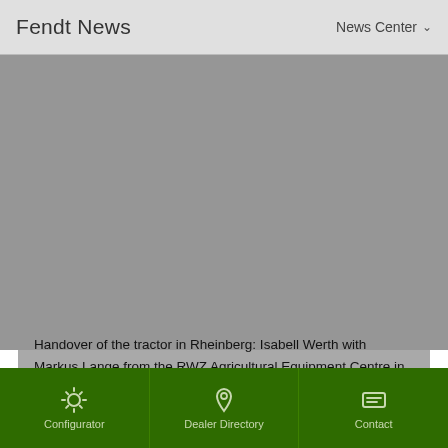Fendt News
News Center
[Figure (photo): Large grey placeholder image area for a tractor handover photo in Rheinberg]
Handover of the tractor in Rheinberg: Isabell Werth with Markus Lange from the RWZ Agricultural Equipment Centre in Geldern (left) and Frank von Ameln, Managing Director of the Rommerskirchen agricultural equipment group (right).
Configurator | Dealer Directory | Contact